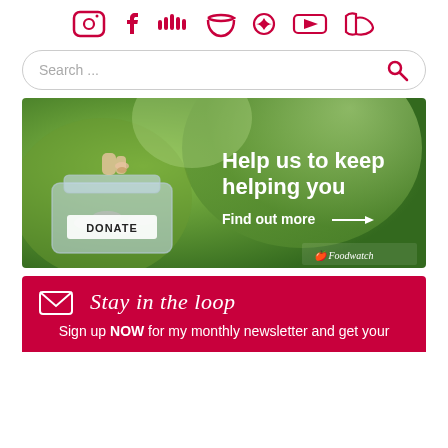[Figure (illustration): Row of social media icons in pink/red: Instagram, Facebook, Soundcloud, Twitter, Pinterest, YouTube, RSS]
[Figure (screenshot): Search bar with placeholder text 'Search ...' and pink search icon on right]
[Figure (photo): Donation banner image showing a hand dropping coins into a glass jar labeled DONATE with green bokeh background. Text reads 'Help us to keep helping you' and 'Find out more →'. Foodwatch logo bottom right.]
Stay in the loop
Sign up NOW for my monthly newsletter and get your